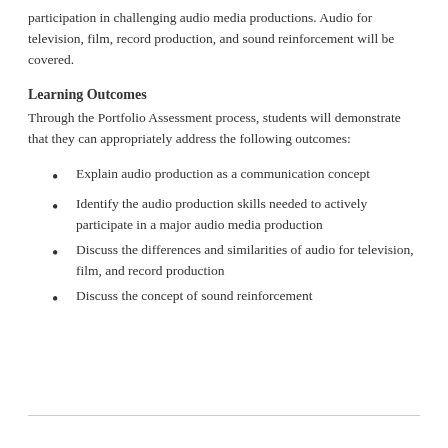participation in challenging audio media productions. Audio for television, film, record production, and sound reinforcement will be covered.
Learning Outcomes
Through the Portfolio Assessment process, students will demonstrate that they can appropriately address the following outcomes:
Explain audio production as a communication concept
Identify the audio production skills needed to actively participate in a major audio media production
Discuss the differences and similarities of audio for television, film, and record production
Discuss the concept of sound reinforcement